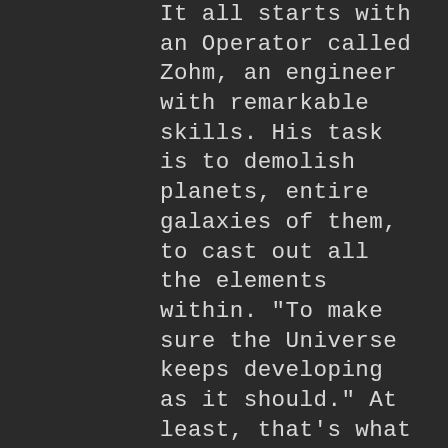It all starts with an Operator called Zohm, an engineer with remarkable skills. His task is to demolish planets, entire galaxies of them, to cast out all the elements within. "To make sure the Universe keeps developing as it should." At least, that's what his superiors told him. Zohn could care less for the ideology and secret plans of his superiors. It was the technology behind the devices used that he was most interested in. As long as he could keep working on those, he would believe whatever Consul came up with.
One day, a day like any other, everything went wrong. A device